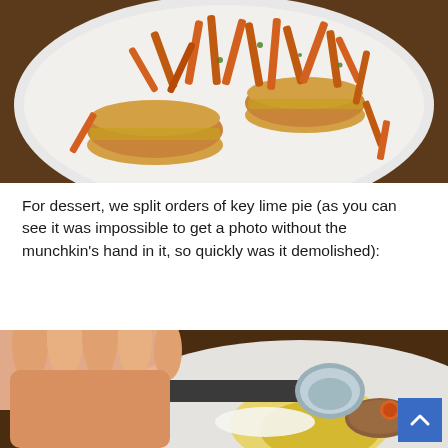[Figure (photo): Overhead photo on a white plate showing two slider-style burgers with sweet potato fries scattered on top and around them.]
For dessert, we split orders of key lime pie (as you can see it was impossible to get a photo without the munchkin's hand in it, so quickly was it demolished):
[Figure (photo): Close-up photo of a hand holding a spoon digging into a partially demolished key lime pie dessert on a white plate, with a crumb crust visible and a lime-orange garnish.]